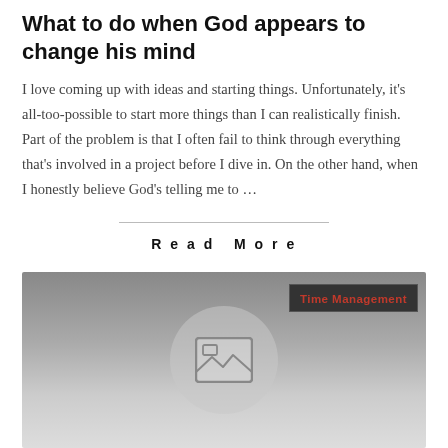What to do when God appears to change his mind
I love coming up with ideas and starting things. Unfortunately, it's all-too-possible to start more things than I can realistically finish. Part of the problem is that I often fail to think through everything that's involved in a project before I dive in. On the other hand, when I honestly believe God's telling me to …
Read More
[Figure (screenshot): Blog post thumbnail image area with dark gradient banner and a 'Time Management' tag label in red text on dark background, and a placeholder image icon on light grey background below]